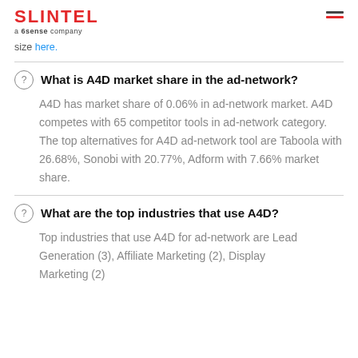SLINTEL a 6sense company
size here.
What is A4D market share in the ad-network?
A4D has market share of 0.06% in ad-network market. A4D competes with 65 competitor tools in ad-network category. The top alternatives for A4D ad-network tool are Taboola with 26.68%, Sonobi with 20.77%, Adform with 7.66% market share.
What are the top industries that use A4D?
Top industries that use A4D for ad-network are Lead Generation (3), Affiliate Marketing (2), Display Marketing (2).